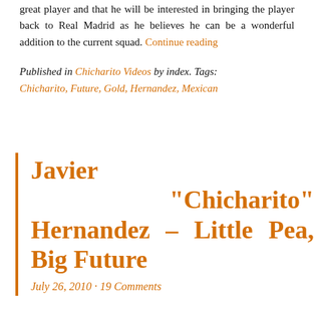great player and that he will be interested in bringing the player back to Real Madrid as he believes he can be a wonderful addition to the current squad. Continue reading
Published in Chicharito Videos by index. Tags: Chicharito, Future, Gold, Hernandez, Mexican
Javier “Chicharito” Hernandez – Little Pea, Big Future
July 26, 2010 · 19 Comments